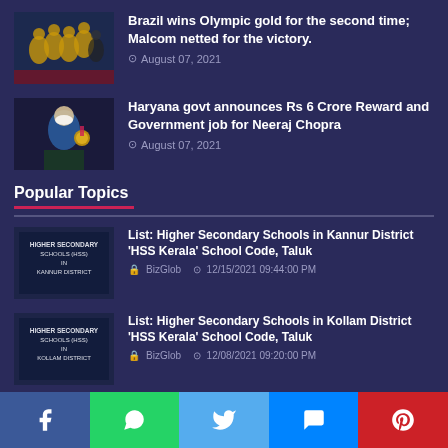[Figure (photo): Brazil football team players in yellow jerseys celebrating]
Brazil wins Olympic gold for the second time; Malcom netted for the victory.
August 07, 2021
[Figure (photo): Neeraj Chopra wearing mask holding medal]
Haryana govt announces Rs 6 Crore Reward and Government job for Neeraj Chopra
August 07, 2021
Popular Topics
[Figure (photo): Higher Secondary Schools HSS in Kannur District thumbnail]
List: Higher Secondary Schools in Kannur District 'HSS Kerala' School Code, Taluk
BizGlob  12/15/2021 09:44:00 PM
[Figure (photo): Higher Secondary Schools HSS in Kollam District thumbnail]
List: Higher Secondary Schools in Kollam District 'HSS Kerala' School Code, Taluk
BizGlob  12/08/2021 09:20:00 PM